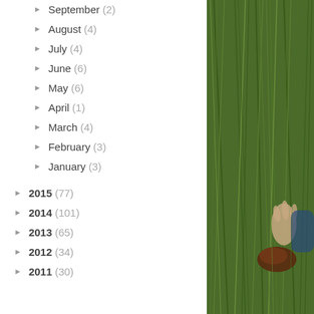September (2)
August (4)
July (4)
June (6)
May (6)
April (1)
March (4)
February (3)
January (3)
2015 (77)
2014 (101)
2013 (65)
2012 (34)
2011 (30)
[Figure (photo): Person crouching in tall green grass, holding a dark brown object (possibly a piece of peat or rock) near the ground.]